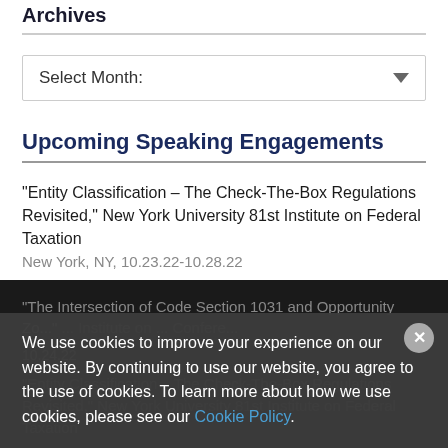Archives
Select Month:
Upcoming Speaking Engagements
"Entity Classification – The Check-The-Box Regulations Revisited," New York University 81st Institute on Federal Taxation
New York, NY, 10.23.22-10.28.22
"The Intersection of Code Section 1031 and Opportunity Zo..." ... Institute on ... Conference 10.24.22
"Entity Classification – The Check-The-Box Regulations Revisited," New York University 81st Institute on Federal Taxation Sa...
We use cookies to improve your experience on our website. By continuing to use our website, you agree to the use of cookies. To learn more about how we use cookies, please see our Cookie Policy.